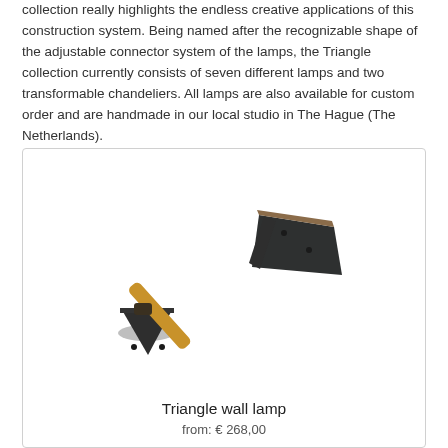collection really highlights the endless creative applications of this construction system. Being named after the recognizable shape of the adjustable connector system of the lamps, the Triangle collection currently consists of seven different lamps and two transformable chandeliers. All lamps are also available for custom order and are handmade in our local studio in The Hague (The Netherlands).
[Figure (photo): A Triangle wall lamp with a dark grey metal shade and a wooden arm extending diagonally from a round wall mount base, also dark grey metal.]
Triangle wall lamp
from: € 268,00